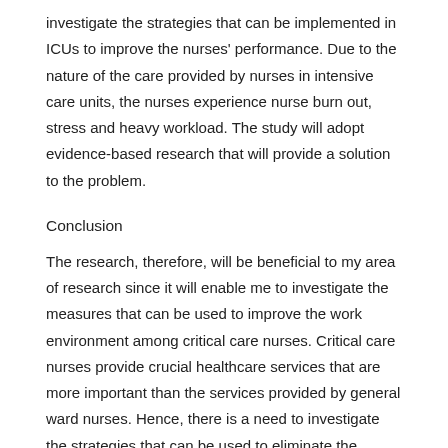investigate the strategies that can be implemented in ICUs to improve the nurses' performance. Due to the nature of the care provided by nurses in intensive care units, the nurses experience nurse burn out, stress and heavy workload. The study will adopt evidence-based research that will provide a solution to the problem.
Conclusion
The research, therefore, will be beneficial to my area of research since it will enable me to investigate the measures that can be used to improve the work environment among critical care nurses. Critical care nurses provide crucial healthcare services that are more important than the services provided by general ward nurses. Hence, there is a need to investigate the strategies that can be used to eliminate the challenges they face in their line of duty.
Essay Help ">Essay Help